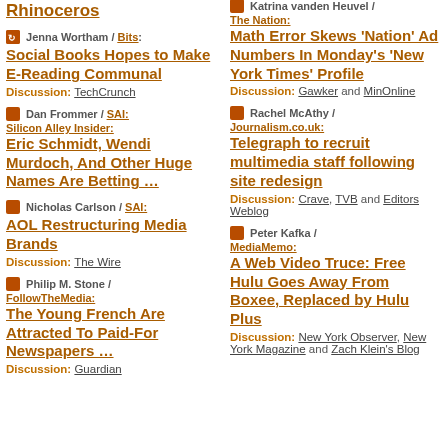Rhinoceros
Jenna Wortham / Bits: Social Books Hopes to Make E-Reading Communal
Discussion: TechCrunch
Dan Frommer / SAI: Silicon Alley Insider: Eric Schmidt, Wendi Murdoch, And Other Huge Names Are Betting …
Nicholas Carlson / SAI: AOL Restructuring Media Brands
Discussion: The Wire
Philip M. Stone / FollowTheMedia: The Young French Are Attracted To Paid-For Newspapers …
Discussion: Guardian
Katrina vanden Heuvel / The Nation: Math Error Skews 'Nation' Ad Numbers In Monday's 'New York Times' Profile
Discussion: Gawker and MinOnline
Rachel McAthy / Journalism.co.uk: Telegraph to recruit multimedia staff following site redesign
Discussion: Crave, TVB and Editors Weblog
Peter Kafka / MediaMemo: A Web Video Truce: Free Hulu Goes Away From Boxee, Replaced by Hulu Plus
Discussion: New York Observer, New York Magazine and Zach Klein's Blog